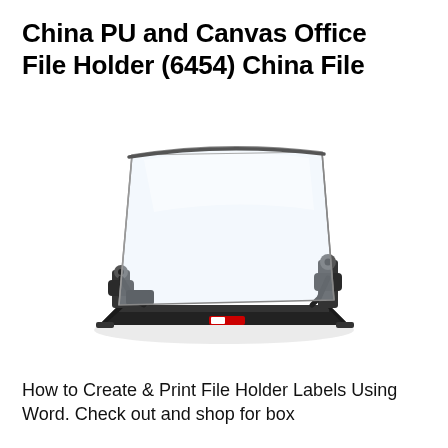China PU and Canvas Office File Holder (6454) China File
[Figure (photo): Product photo of a transparent acrylic/plastic office file holder with black base and side clamps, shown at an angle on a white background]
How to Create & Print File Holder Labels Using Word. Check out and shop for box